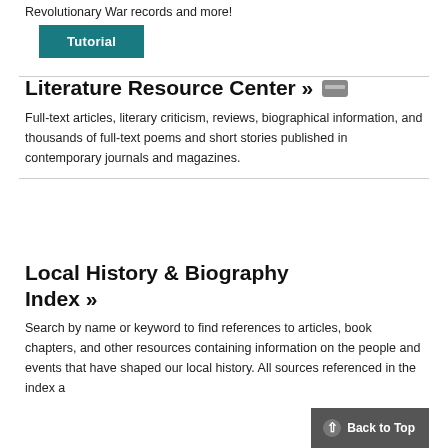Revolutionary War records and more!
Tutorial
Literature Resource Center »
Full-text articles, literary criticism, reviews, biographical information, and thousands of full-text poems and short stories published in contemporary journals and magazines.
Local History & Biography Index »
Search by name or keyword to find references to articles, book chapters, and other resources containing information on the people and events that have shaped our local history. All sources referenced in the index a
Back to Top